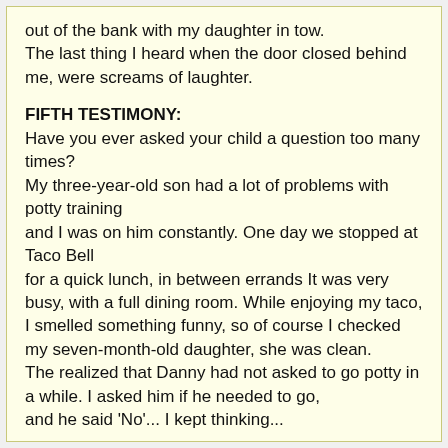out of the bank with my daughter in tow. The last thing I heard when the door closed behind me, were screams of laughter.
FIFTH TESTIMONY:
Have you ever asked your child a question too many times?
My three-year-old son had a lot of problems with potty training
and I was on him constantly. One day we stopped at Taco Bell
for a quick lunch, in between errands It was very busy, with a full dining room. While enjoying my taco,
I smelled something funny, so of course I checked my seven-month-old daughter, she was clean.
The realized that Danny had not asked to go potty in a while. I asked him if he needed to go,
and he said 'No'... I kept thinking...